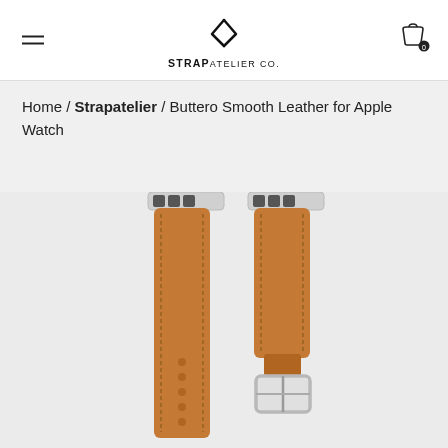STRAP ATELIER CO.
Home / Strapatelier / Buttero Smooth Leather for Apple Watch
[Figure (photo): Two tan/cognac brown leather Apple Watch straps side by side — one showing the long piece with stitching and holes, the other showing the short piece with a silver buckle. Both have silver Apple Watch connectors at top.]